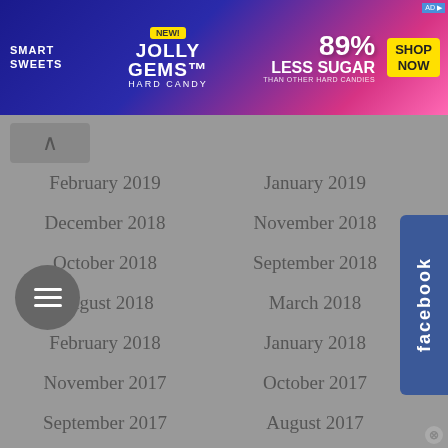[Figure (infographic): Banner advertisement for Smart Sweets Jolly Gems Hard Candy — 89% Less Sugar than other hard candies, with Shop Now button]
February 2019
January 2019
December 2018
November 2018
October 2018
September 2018
August 2018
March 2018
February 2018
January 2018
November 2017
October 2017
September 2017
August 2017
July 2017
June 2017
May 2017
April 2017
March 2017
February 2017
January 2017
December 2016
November 2016
October 2016